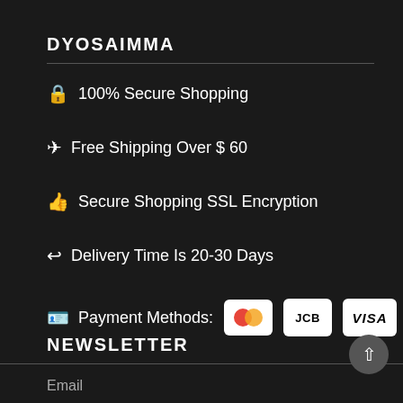DYOSAIMMA
🔒 100% Secure Shopping
✈ Free Shipping Over $ 60
👍 Secure Shopping SSL Encryption
↩ Delivery Time Is 20-30 Days
💳 Payment Methods: Mastercard, JCB, VISA
NEWSLETTER
Email